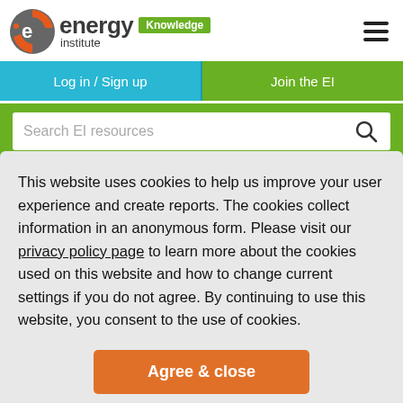[Figure (logo): Energy Institute Knowledge logo with orange/grey circular icon, bold 'energy institute' text, and green 'Knowledge' badge]
[Figure (other): Hamburger menu icon (three horizontal bars) top right]
Log in / Sign up
Join the EI
Search EI resources
This website uses cookies to help us improve your user experience and create reports. The cookies collect information in an anonymous form. Please visit our privacy policy page to learn more about the cookies used on this website and how to change current settings if you do not agree. By continuing to use this website, you consent to the use of cookies.
Agree & close
good practice.
Under the governance of the Health and Safety Executive...